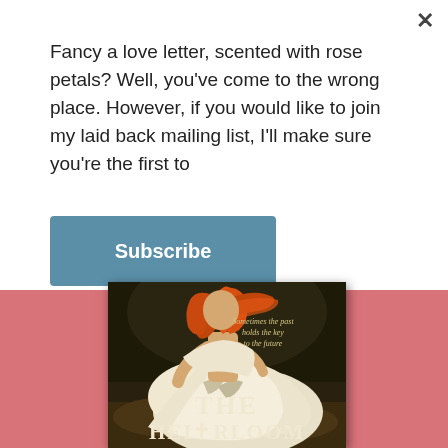Fancy a love letter, scented with rose petals? Well, you've come to the wrong place. However, if you would like to join my laid back mailing list, I'll make sure you're the first to
Subscribe
[Figure (illustration): Book cover for 'The Heirloom' showing a woman in a white flowing dress with red hair, text reads 'Sometimes the past holds the key to the future']